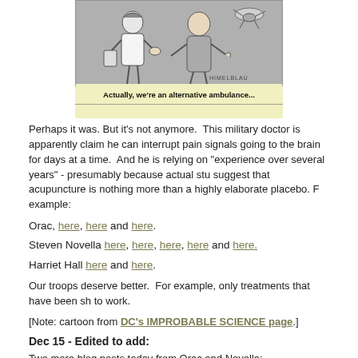[Figure (illustration): Cartoon showing two people, one in a white coat appearing to speak to another person, with a flying creature/insect in the upper right. Signed HIMELBLAU. Set against a grey and yellow background.]
Actually, we're an alternative ambulance...
Perhaps it was. But it's not anymore.  This military doctor is apparently claiming he can interrupt pain signals going to the brain for days at a time.  And he is relying on "experience over several years" - presumably because actual studies suggest that acupuncture is nothing more than a highly elaborate placebo. For example:
Orac, here, here and here.
Steven Novella here, here, here, here and here.
Harriet Hall here and here.
Our troops deserve better.  For example, only treatments that have been shown to work.
[Note: cartoon from DC's IMPROBABLE SCIENCE page.]
Dec 15 - Edited to add:
Two more blog posts today from Orac and Novella: